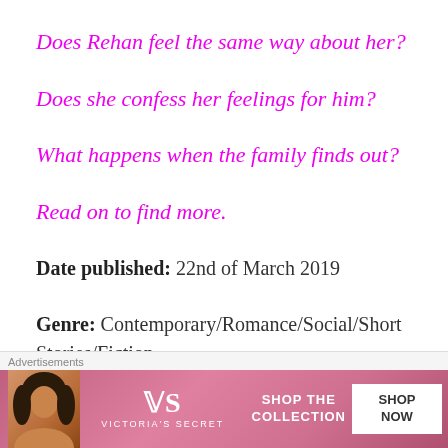Does Rehan feel the same way about her?
Does she confess her feelings for him?
What happens when the family finds out?
Read on to find more.
Date published: 22nd of March 2019
Genre: Contemporary/Romance/Social/Short Stories/Fiction
Derived from Hindi Edition ...in English
[Figure (other): Victoria's Secret advertisement banner with model photo, VS logo, 'SHOP THE COLLECTION' text, and 'SHOP NOW' button]